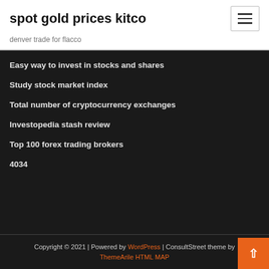spot gold prices kitco
denver trade for flacco
Easy way to invest in stocks and shares
Study stock market index
Total number of cryptocurrency exchanges
Investopedia stash review
Top 100 forex trading brokers
4034
Copyright © 2021 | Powered by WordPress | ConsultStreet theme by ThemeArile HTML MAP